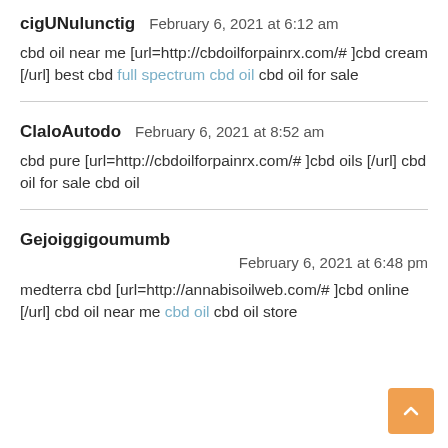cigUNulunctig  February 6, 2021 at 6:12 am
cbd oil near me [url=http://cbdoilforpainrx.com/# ]cbd cream [/url] best cbd full spectrum cbd oil cbd oil for sale
ClaloAutodo  February 6, 2021 at 8:52 am
cbd pure [url=http://cbdoilforpainrx.com/# ]cbd oils [/url] cbd oil for sale cbd oil
Gejoiggigoumumb  February 6, 2021 at 6:48 pm
medterra cbd [url=http://annabisoilweb.com/# ]cbd online [/url] cbd oil near me cbd oil cbd oil store